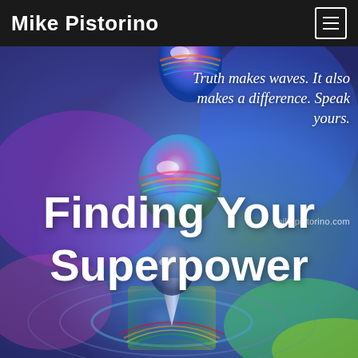Mike Pistorino
[Figure (photo): Close-up photo of colorful water droplets falling and splashing on a reflective surface with vibrant blue, purple, green, and rainbow colors in the background]
Truth makes waves. It also makes a difference. Speak yours.
mikepistorino.com
Finding Your Superpower